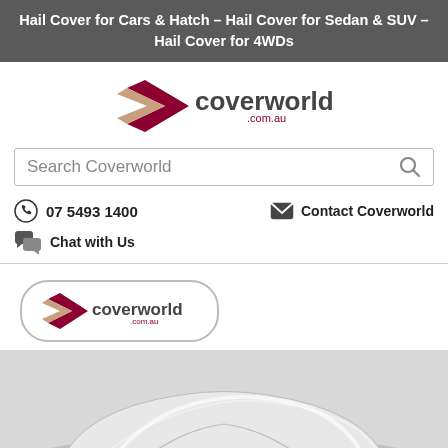Hail Cover for Cars & Hatch – Hail Cover for Sedan & SUV – Hail Cover for 4WDs
[Figure (logo): Coverworld.com.au logo with dark red chevron/wing shape]
Search Coverworld
07 5493 1400
Contact Coverworld
Chat with Us
[Figure (logo): Coverworld.com.au small logo in rounded rectangle border]
[Figure (photo): Hail cover product photo showing silver/grey protective car cover]